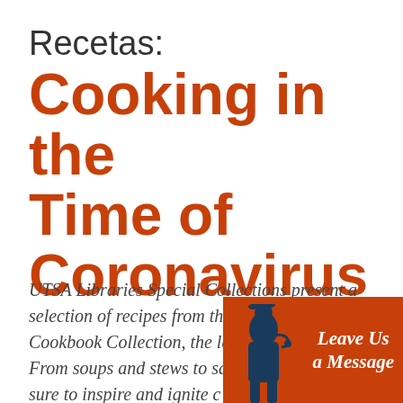Recetas: Cooking in the Time of Coronavirus
UTSA Libraries Special Collections present a selection of recipes from the Mexican Cookbook Collection, the largest in the nation. From soups and stews to salsas and s[weets, these are] sure to inspire and ignite [your cooking]
[Figure (illustration): Chat/message widget with a silhouette figure and text reading 'Leave Us a Message' on an orange background]